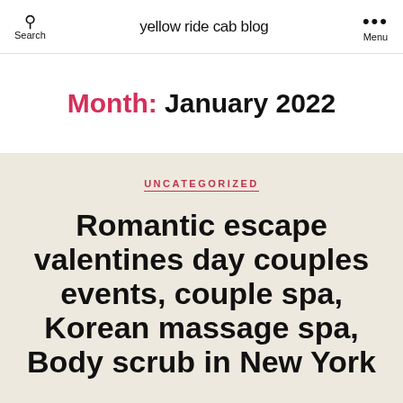Search | yellow ride cab blog | Menu
Month: January 2022
UNCATEGORIZED
Romantic escape valentines day couples events, couple spa, Korean massage spa, Body scrub in New York